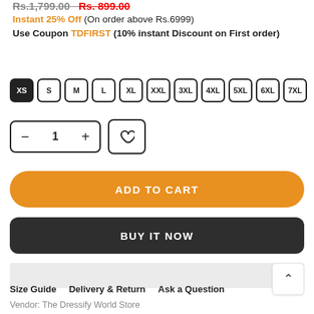Rs.1,799.00  Rs. 899.00
Instant 25% Off (On order above Rs.6999) Use Coupon TDFIRST (10% instant Discount on First order)
XS S M L XL XXL 3XL 4XL 5XL 6XL 7XL
- 1 +  [heart]
ADD TO CART
BUY IT NOW
Size Guide   Delivery & Return   Ask a Question
Vendor: The Dressify World Store